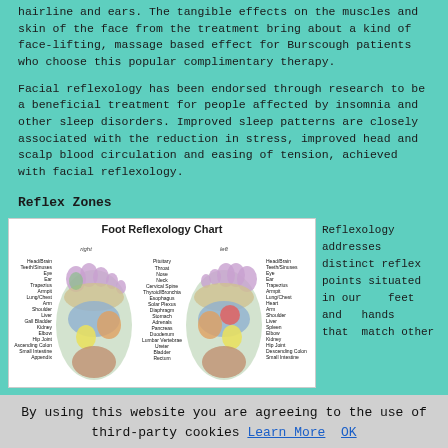hairline and ears. The tangible effects on the muscles and skin of the face from the treatment bring about a kind of face-lifting, massage based effect for Burscough patients who choose this popular complimentary therapy.
Facial reflexology has been endorsed through research to be a beneficial treatment for people affected by insomnia and other sleep disorders. Improved sleep patterns are closely associated with the reduction in stress, improved head and scalp blood circulation and easing of tension, achieved with facial reflexology.
Reflex Zones
[Figure (illustration): Foot Reflexology Chart showing right and left feet with labeled reflex zones corresponding to body parts including Head/Brain, Teeth/Sinuses, Eye, Ear, Trapezius, Armpit, Lung/Chest, Arm, Shoulder, Liver, Gall Bladder, Kidney, Elbow, Hip Joint, Ascending Colon, Small Intestine on right foot; Pituitary, Throat, Nose, Neck, Cervical Spine, Thyroid/Bronchia, Esophagus, Solar Plexus, Diaphragm, Stomach, Adrenals, Pancreas, Duodenum, Lumbar Vertebrae, Ureter, Bladder, Rectum in center; Head/Brain, Teeth/Sinuses, Eye, Ear, Trapezius, Armpit, Lung/Chest, Heart, Arm, Shoulder, Liver, Spleen, Elbow, Kidney, Hip Joint, Descending Colon, Small Intestine on left foot.]
Reflexology addresses distinct reflex points situated in our feet and hands that match other
By using this website you are agreeing to the use of third-party cookies Learn More  OK